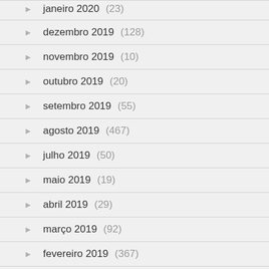janeiro 2020 (23)
dezembro 2019 (128)
novembro 2019 (10)
outubro 2019 (20)
setembro 2019 (55)
agosto 2019 (467)
julho 2019 (50)
maio 2019 (19)
abril 2019 (29)
março 2019 (92)
fevereiro 2019 (367)
janeiro 2019 (857)